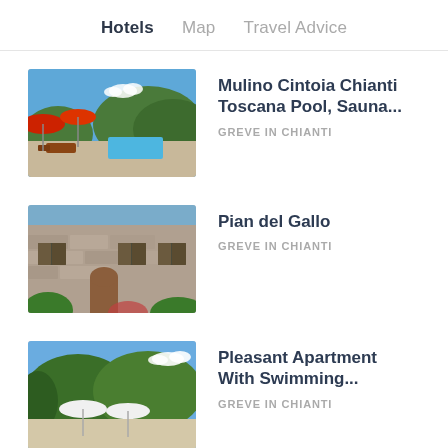Hotels  Map  Travel Advice
[Figure (photo): Outdoor pool area with lounge chairs and red umbrellas, surrounded by trees and hills]
Mulino Cintoia Chianti Toscana Pool, Sauna...
GREVE IN CHIANTI
[Figure (photo): Stone farmhouse building with wooden shutters and flowering plants at entrance]
Pian del Gallo
GREVE IN CHIANTI
[Figure (photo): Outdoor terrace area with white umbrellas surrounded by trees and blue sky]
Pleasant Apartment With Swimming...
GREVE IN CHIANTI